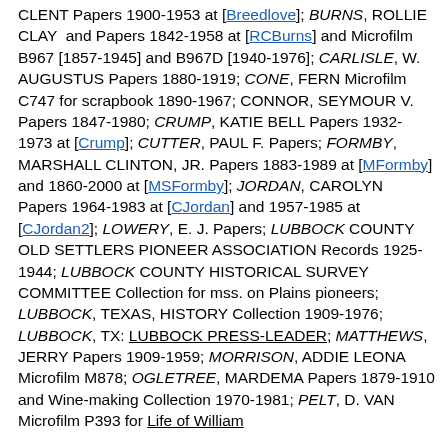CLENT Papers 1900-1953 at [Breedlove]; BURNS, ROLLIE CLAY and Papers 1842-1958 at [RCBurns] and Microfilm B967 [1857-1945] and B967D [1940-1976]; CARLISLE, W. AUGUSTUS Papers 1880-1919; CONE, FERN Microfilm C747 for scrapbook 1890-1967; CONNOR, SEYMOUR V. Papers 1847-1980; CRUMP, KATIE BELL Papers 1932-1973 at [Crump]; CUTTER, PAUL F. Papers; FORMBY, MARSHALL CLINTON, JR. Papers 1883-1989 at [MFormby] and 1860-2000 at [MSFormby]; JORDAN, CAROLYN Papers 1964-1983 at [CJordan] and 1957-1985 at [CJordan2]; LOWERY, E. J. Papers; LUBBOCK COUNTY OLD SETTLERS PIONEER ASSOCIATION Records 1925-1944; LUBBOCK COUNTY HISTORICAL SURVEY COMMITTEE Collection for mss. on Plains pioneers; LUBBOCK, TEXAS, HISTORY Collection 1909-1976; LUBBOCK, TX: LUBBOCK PRESS-LEADER; MATTHEWS, JERRY Papers 1909-1959; MORRISON, ADDIE LEONA Microfilm M878; OGLETREE, MARDEMA Papers 1879-1910 and Wine-making Collection 1970-1981; PELT, D. VAN Microfilm P393 for Life of William